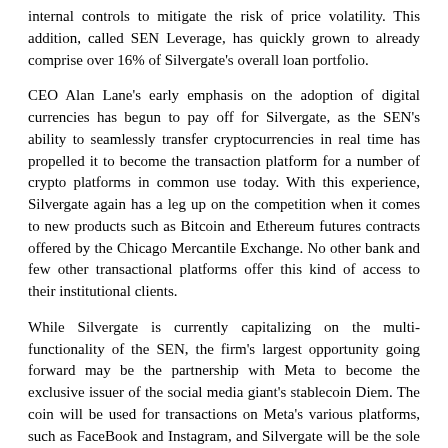internal controls to mitigate the risk of price volatility. This addition, called SEN Leverage, has quickly grown to already comprise over 16% of Silvergate's overall loan portfolio.
CEO Alan Lane's early emphasis on the adoption of digital currencies has begun to pay off for Silvergate, as the SEN's ability to seamlessly transfer cryptocurrencies in real time has propelled it to become the transaction platform for a number of crypto platforms in common use today. With this experience, Silvergate again has a leg up on the competition when it comes to new products such as Bitcoin and Ethereum futures contracts offered by the Chicago Mercantile Exchange. No other bank and few other transactional platforms offer this kind of access to their institutional clients.
While Silvergate is currently capitalizing on the multi-functionality of the SEN, the firm's largest opportunity going forward may be the partnership with Meta to become the exclusive issuer of the social media giant's stablecoin Diem. The coin will be used for transactions on Meta's various platforms, such as FaceBook and Instagram, and Silvergate will be the sole minter, burner, and regulator of the digital currency. The coin's